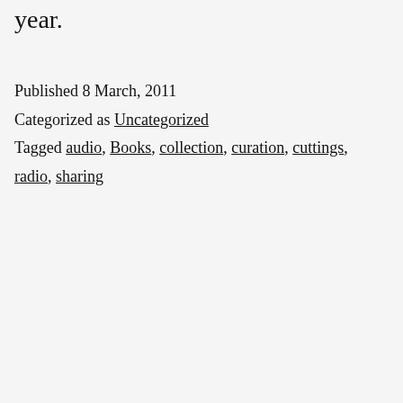year.
Published 8 March, 2011
Categorized as Uncategorized
Tagged audio, Books, collection, curation, cuttings, radio, sharing